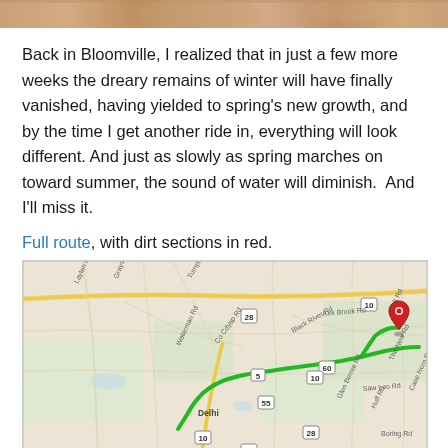[Figure (photo): Top strip of a photo showing a close-up of a person's face or outdoor scene with warm tones]
Back in Bloomville, I realized that in just a few more weeks the dreary remains of winter will have finally vanished, having yielded to spring's new growth, and by the time I get another ride in, everything will look different. And just as slowly as spring marches on toward summer, the sound of water will diminish.  And I'll miss it.
Full route, with dirt sections in red.
[Figure (map): Google Maps screenshot showing a cycling route in the Bloomville area, with a green line tracing the route and a red pin marker. Roads labeled include route numbers 5, 10, 28, 55, 60. Town of Delhi visible. Route follows roads through hilly terrain.]